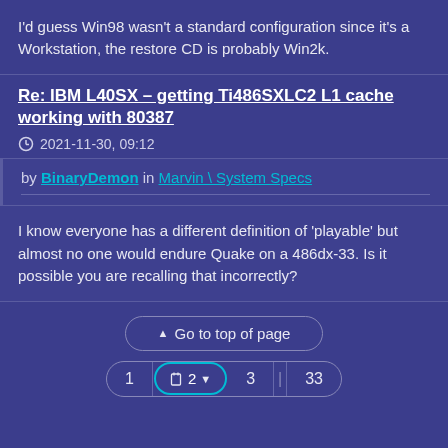I'd guess Win98 wasn't a standard configuration since it's a Workstation, the restore CD is probably Win2k.
Re: IBM L40SX – getting Ti486SXLC2 L1 cache working with 80387
2021-11-30, 09:12
by BinaryDemon in Marvin \ System Specs
I know everyone has a different definition of 'playable' but almost no one would endure Quake on a 486dx-33. Is it possible you are recalling that incorrectly?
▲ Go to top of page
1  2  3  33